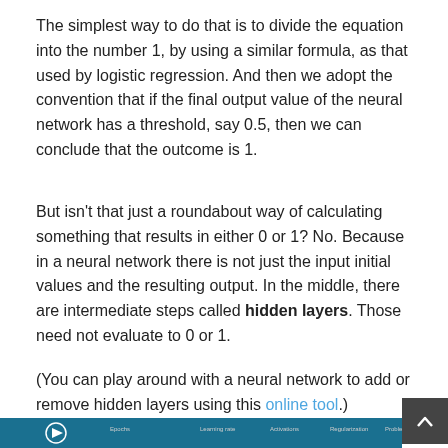The simplest way to do that is to divide the equation into the number 1, by using a similar formula, as that used by logistic regression. And then we adopt the convention that if the final output value of the neural network has a threshold, say 0.5, then we can conclude that the outcome is 1.
But isn't that just a roundabout way of calculating something that results in either 0 or 1? No. Because in a neural network there is not just the input initial values and the resulting output. In the middle, there are intermediate steps called hidden layers. Those need not evaluate to 0 or 1.
(You can play around with a neural network to add or remove hidden layers using this online tool.)
[Figure (screenshot): Bottom of a video player interface with a dark teal/blue toolbar and play button visible at the bottom of the page.]